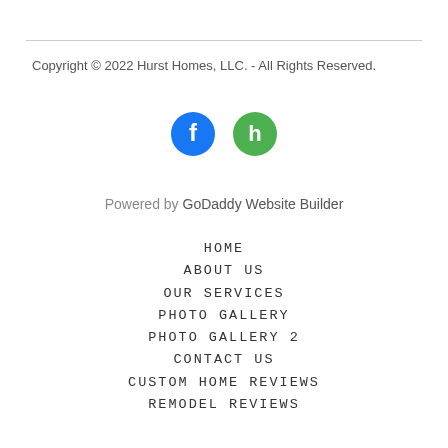Copyright © 2022 Hurst Homes, LLC. - All Rights Reserved.
[Figure (illustration): Social media icons: Facebook (blue circle with f logo) and Houzz (green circle with h logo)]
Powered by GoDaddy Website Builder
HOME
ABOUT US
OUR SERVICES
PHOTO GALLERY
PHOTO GALLERY 2
CONTACT US
CUSTOM HOME REVIEWS
REMODEL REVIEWS